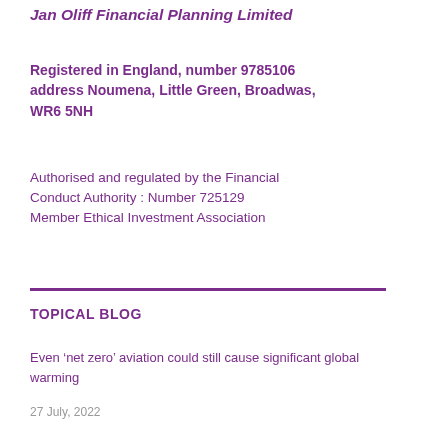Jan Oliff Financial Planning Limited
Registered in England, number 9785106 address Noumena, Little Green, Broadwas, WR6 5NH
Authorised and regulated by the Financial Conduct Authority : Number 725129 Member Ethical Investment Association
TOPICAL BLOG
Even ‘net zero’ aviation could still cause significant global warming
27 July, 2022